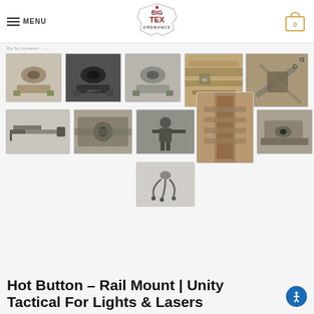MENU | BIG TEX ORDNANCE | Cart 0
breadcrumb navigation
[Figure (photo): Product gallery showing Hot Button Rail Mount Unity Tactical device from multiple angles including close-ups, rifle-mounted views, and accessory cables. 10 thumbnail photos arranged in a grid.]
Hot Button – Rail Mount | Unity Tactical For Lights & Lasers